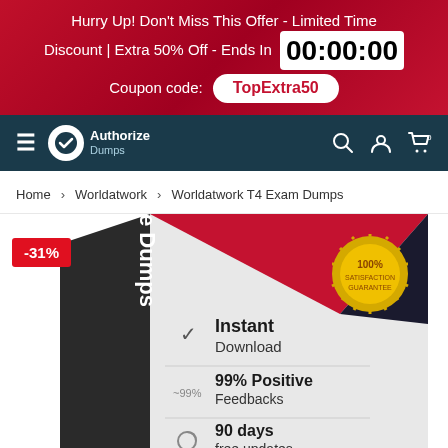Hurry Up! Don't Miss This Offer - Limited Time Discount | Extra 50% Off - Ends In 00:00:00 Coupon code: TopExtra50
[Figure (screenshot): Website navigation bar with Authorize Dumps logo, hamburger menu, search, user, and cart icons on dark teal background]
Home > Worldatwork > Worldatwork T4 Exam Dumps
[Figure (photo): Product box for Worldatwork T4 Exam Dumps showing -31% discount badge, features: Instant Download, 99% Positive Feedbacks, 90 days free updates, Payment, with 100% satisfaction guarantee gold seal]